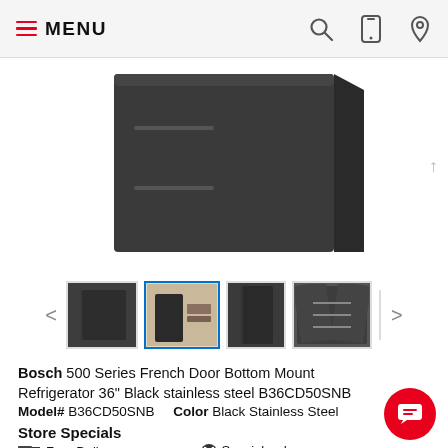MENU
[Figure (photo): Large main product image of Bosch 500 Series French Door Bottom Mount Refrigerator in black stainless steel, showing front view with dark background]
[Figure (photo): Thumbnail row with four product images: front view of refrigerator, kitchen lifestyle shot with refrigerator, slim front view, and open refrigerator interior view. Navigation arrows on left and right.]
Bosch 500 Series French Door Bottom Mount Refrigerator 36" Black stainless steel B36CD50SNB
Model# B36CD50SNB    Color Black Stainless Steel
Store Specials
Free Delivery
Special order: Call for availability